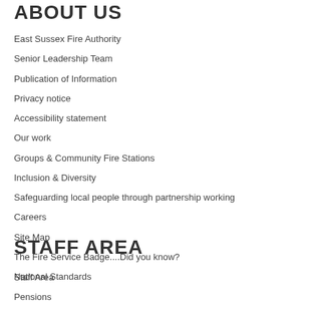ABOUT US
East Sussex Fire Authority
Senior Leadership Team
Publication of Information
Privacy notice
Accessibility statement
Our work
Groups & Community Fire Stations
Inclusion & Diversity
Safeguarding local people through partnership working
Careers
Site Map
The Fire Service Badge....Did you know?
National Standards
STAFF AREA
Staff Area
Pensions